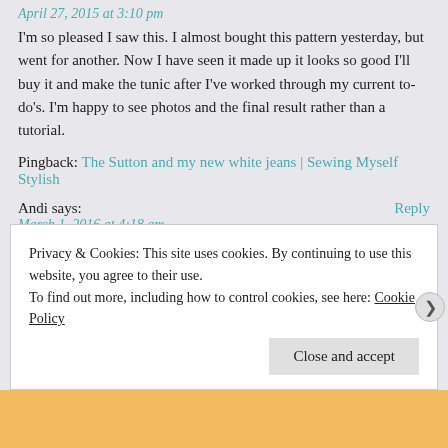April 27, 2015 at 3:10 pm
I'm so pleased I saw this. I almost bought this pattern yesterday, but went for another. Now I have seen it made up it looks so good I'll buy it and make the tunic after I've worked through my current to-do's. I'm happy to see photos and the final result rather than a tutorial.
Pingback: The Sutton and my new white jeans | Sewing Myself Stylish
Andi says:
Reply
March 1, 2016 at 4:18 am
I've just found your blog and started immediately to work my way through to this point (I love what you're sewing and reading your critiques). I appreciate your approach to blogging your makes, and your offer to answer any questions is generous. When I'm reading I most want to see photos and a summary of what was changed and what the sewer liked or not. Thank you f
Privacy & Cookies: This site uses cookies. By continuing to use this website, you agree to their use.
To find out more, including how to control cookies, see here: Cookie Policy
Close and accept